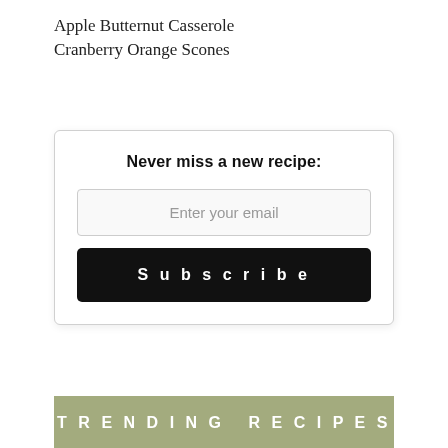Apple Butternut Casserole
Cranberry Orange Scones
Never miss a new recipe:
Enter your email
Subscribe
TRENDING RECIPES